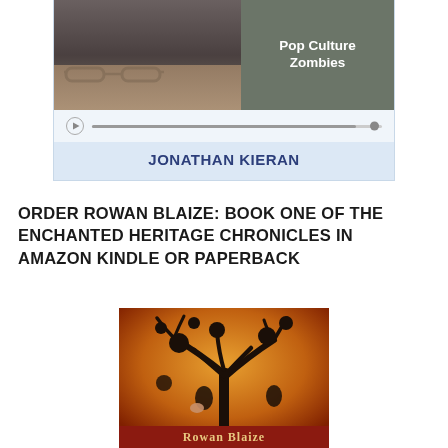[Figure (screenshot): Embedded video/audio player showing a person with glasses on the left thumbnail, and text 'Pop Culture Zombies' on the right side of the thumbnail, with an audio progress bar below and author name 'JONATHAN KIERAN' in blue bold text]
ORDER ROWAN BLAIZE: BOOK ONE OF THE ENCHANTED HERITAGE CHRONICLES IN AMAZON KINDLE OR PAPERBACK
[Figure (photo): Book cover for 'Rowan Blaize' showing a dark bare tree silhouette against an orange/amber background with dark circular ornaments hanging from branches and the title text 'Rowan Blaize' at the bottom on a red banner]